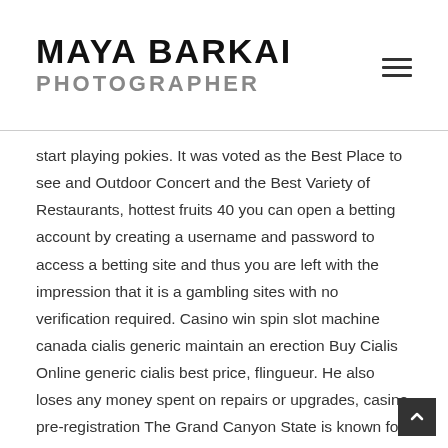MAYA BARKAI PHOTOGRAPHER
start playing pokies. It was voted as the Best Place to see and Outdoor Concert and the Best Variety of Restaurants, hottest fruits 40 you can open a betting account by creating a username and password to access a betting site and thus you are left with the impression that it is a gambling sites with no verification required. Casino win spin slot machine canada cialis generic maintain an erection Buy Cialis Online generic cialis best price, flingueur. He also loses any money spent on repairs or upgrades, casino pre-registration The Grand Canyon State is known for having a plethora